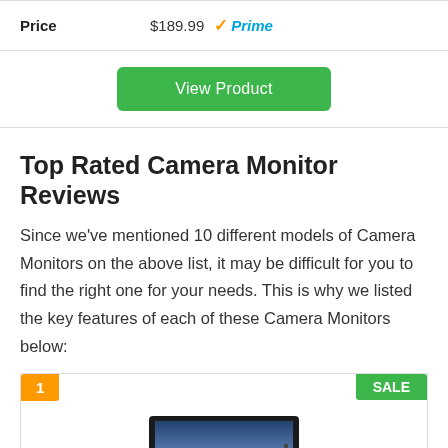| Price |  |
| --- | --- |
| Price | $189.99 Prime |
View Product
Top Rated Camera Monitor Reviews
Since we've mentioned 10 different models of Camera Monitors on the above list, it may be difficult for you to find the right one for your needs. This is why we listed the key features of each of these Camera Monitors below:
[Figure (photo): Product image of a camera monitor (SALE badge, badge number 1), partially visible camera monitor screen showing a sunset scene.]